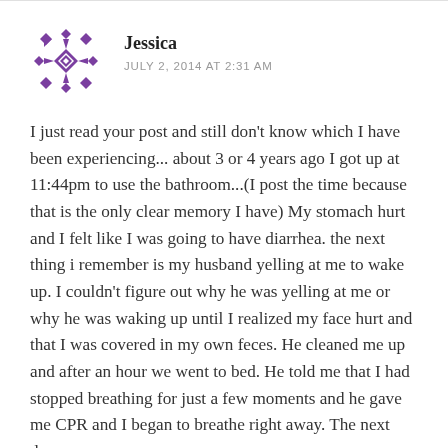[Figure (illustration): Purple decorative avatar icon with geometric diamond and cross pattern]
Jessica
JULY 2, 2014 AT 2:31 AM
I just read your post and still don't know which I have been experiencing... about 3 or 4 years ago I got up at 11:44pm to use the bathroom...(I post the time because that is the only clear memory I have) My stomach hurt and I felt like I was going to have diarrhea. the next thing i remember is my husband yelling at me to wake up. I couldn't figure out why he was yelling at me or why he was waking up until I realized my face hurt and that I was covered in my own feces. He cleaned me up and after an hour we went to bed. He told me that I had stopped breathing for just a few moments and he gave me CPR and I began to breathe right away. The next day